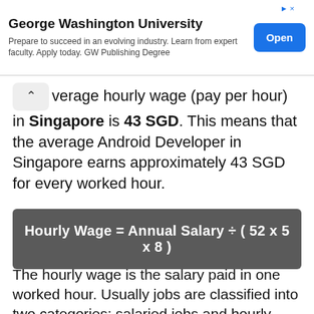[Figure (other): Advertisement banner for George Washington University with title, subtitle text, and Open button]
verage hourly wage (pay per hour) in Singapore is 43 SGD. This means that the average Android Developer in Singapore earns approximately 43 SGD for every worked hour.
The hourly wage is the salary paid in one worked hour. Usually jobs are classified into two categories: salaried jobs and hourly jobs. Salaried jobs pay a fix amount regardless of the hours worked. Hourly jobs pay per worked hour. To convert salary into hourly wage the